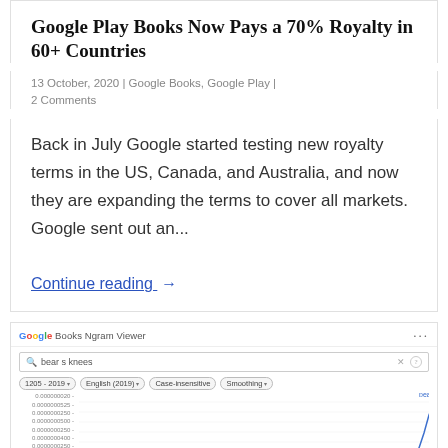Google Play Books Now Pays a 70% Royalty in 60+ Countries
13 October, 2020 | Google Books, Google Play | 2 Comments
Back in July Google started testing new royalty terms in the US, Canada, and Australia, and now they are expanding the terms to cover all markets. Google sent out an...
Continue reading →
[Figure (screenshot): Screenshot of Google Books Ngram Viewer showing a line chart for 'bear s knees' search query with a sharply rising trend line approaching 2019, y-axis showing small decimal values around 0.000000000x range. Filters shown: 1205-2019, English (2019), Case-insensitive, Smoothing.]